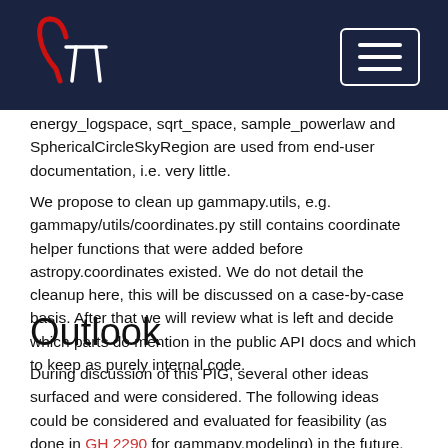Gammapy logo and navigation
energy_logspace, sqrt_space, sample_powerlaw and SphericalCircleSkyRegion are used from end-user documentation, i.e. very little.
We propose to clean up gammapy.utils, e.g. gammapy/utils/coordinates.py still contains coordinate helper functions that were added before astropy.coordinates existed. We do not detail the cleanup here, this will be discussed on a case-by-case basis. After that we will review what is left and decide which parts do mention in the public API docs and which to keep as purely internal code.
Outlook
During discussion of this PIG, several other ideas surfaced and were considered. The following ideas could be considered and evaluated for feasibility (as done in GH 2290 for gammapy.modeling) in the future.